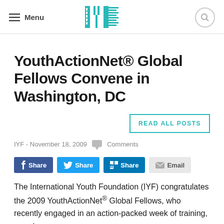Menu | IYF Logo | Search
YouthActionNet® Global Fellows Convene in Washington, DC
READ ALL POSTS
IYF - November 18, 2009  Comments
f Share  Share  in Share  Email
The International Youth Foundation (IYF) congratulates the 2009 YouthActionNet® Global Fellows, who recently engaged in an action-packed week of training, peer-to-